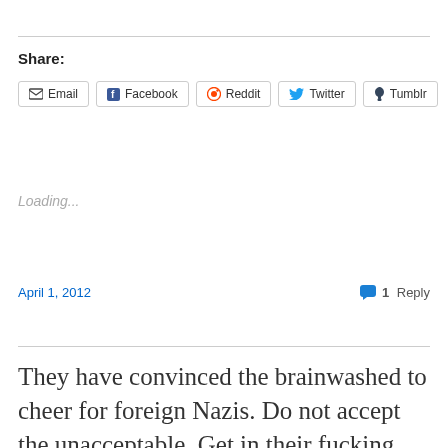Share:
[Figure (other): Share buttons row: Email, Facebook, Reddit, Twitter, Tumblr]
Loading...
April 1, 2012
1 Reply
They have convinced the brainwashed to cheer for foreign Nazis. Do not accept the unacceptable. Get in their fucking stupid faces,